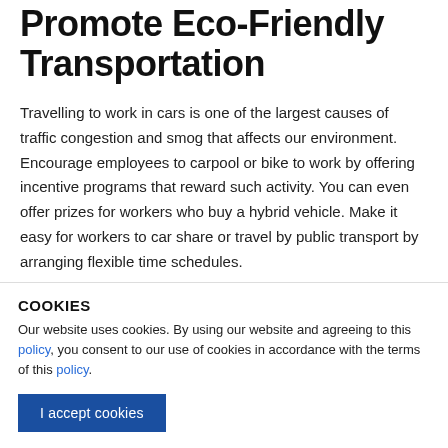Promote Eco-Friendly Transportation
Travelling to work in cars is one of the largest causes of traffic congestion and smog that affects our environment. Encourage employees to carpool or bike to work by offering incentive programs that reward such activity. You can even offer prizes for workers who buy a hybrid vehicle. Make it easy for workers to car share or travel by public transport by arranging flexible time schedules.
G... T...
COOKIES
Our website uses cookies. By using our website and agreeing to this policy, you consent to our use of cookies in accordance with the terms of this policy.
I accept cookies